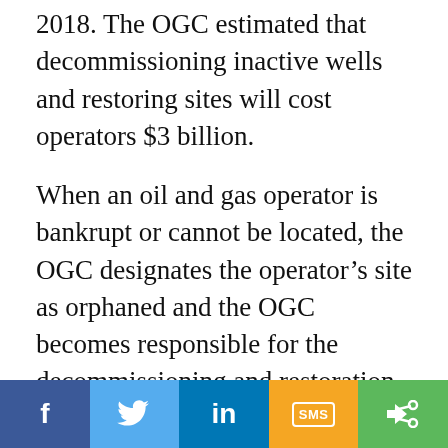2018. The OGC estimated that decommissioning inactive wells and restoring sites will cost operators $3 billion.
When an oil and gas operator is bankrupt or cannot be located, the OGC designates the operator's site as orphaned and the OGC becomes responsible for the decommissioning and restoration work.
“The Orphan Fund, which is funded through security deposits and a tax on operator’s production, is meant to cover
[Figure (infographic): Social share bar with five buttons: Facebook (blue, f icon), Twitter (light blue, bird icon), LinkedIn (dark blue, in icon), SMS (yellow/orange, SMS label in box), Share/More (green, share icon)]